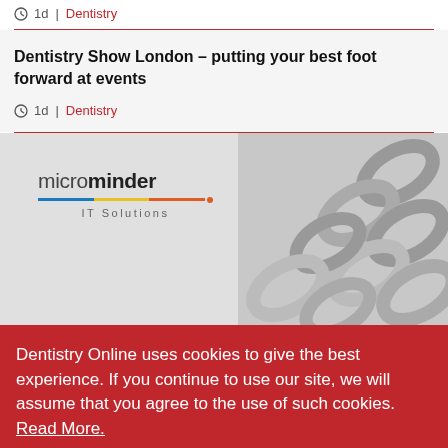1d | Dentistry
Dentistry Show London – putting your best foot forward at events
1d | Dentistry
[Figure (logo): Microminder IT Solutions logo with colored underline bar and chain links image on right]
Dentistry Online uses cookies to give the best experience. If you continue to use our site, we will assume that you agree to the use of such cookies. Read More.
ACCEPT